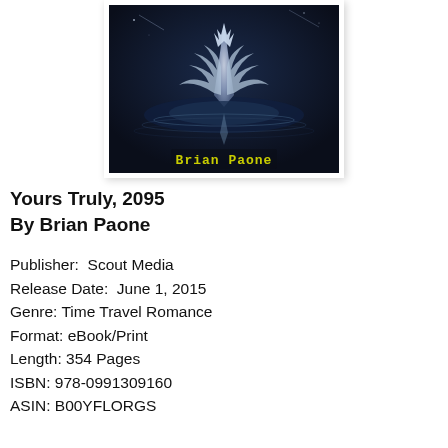[Figure (illustration): Book cover for 'Yours Truly, 2095' by Brian Paone. Dark blue/navy background with a water droplet splash and crown-like silver reflection. Author name 'Brian Paone' appears in yellow-green pixel/LCD font at the bottom of the image.]
Yours Truly, 2095
By Brian Paone
Publisher:  Scout Media
Release Date:  June 1, 2015
Genre: Time Travel Romance
Format: eBook/Print
Length: 354 Pages
ISBN: 978-0991309160
ASIN: B00YFLORGS